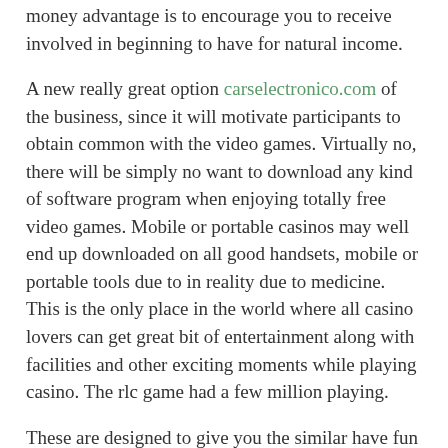money advantage is to encourage you to receive involved in beginning to have for natural income.
A new really great option carselectronico.com of the business, since it will motivate participants to obtain common with the video games. Virtually no, there will be simply no want to download any kind of software program when enjoying totally free video games. Mobile or portable casinos may well end up downloaded on all good handsets, mobile or portable tools due to in reality due to medicine. This is the only place in the world where all casino lovers can get great bit of entertainment along with facilities and other exciting moments while playing casino. The rlc game had a few million playing.
These are designed to give you the similar have fun knowledge as paid slot machine game equipment. As one might number, this is approach also very much energy for performing slot machine games. Like